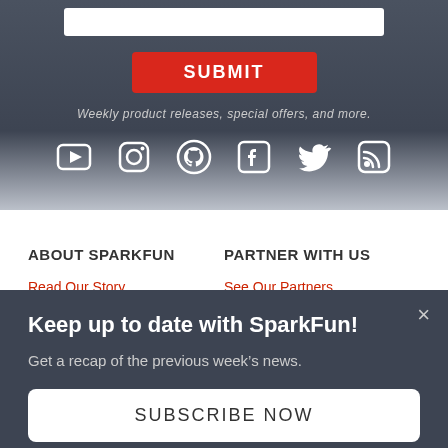[Figure (screenshot): Input bar (white rectangle) at the top of a dark grey newsletter signup section]
SUBMIT
Weekly product releases, special offers, and more.
[Figure (illustration): Row of social media icons: YouTube, Instagram, GitHub, Facebook, Twitter, RSS — white icons on dark background]
ABOUT SPARKFUN
Read Our Story
Press & Media
PARTNER WITH US
See Our Partners
Become a Distributor/Reseller
Keep up to date with SparkFun!
Get a recap of the previous week's news.
SUBSCRIBE NOW